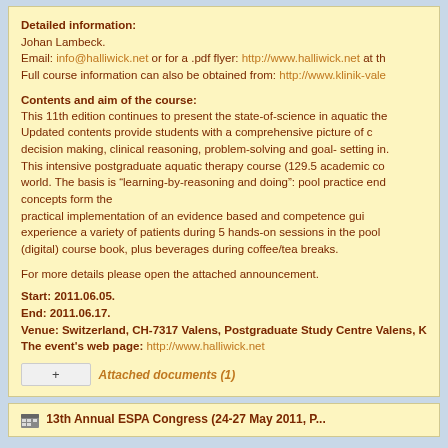Detailed information:
Johan Lambeck.
Email: info@halliwick.net or for a .pdf flyer: http://www.halliwick.net at th...
Full course information can also be obtained from: http://www.klinik-vale...
Contents and aim of the course:
This 11th edition continues to present the state-of-science in aquatic ther... Updated contents provide students with a comprehensive picture of c... decision making, clinical reasoning, problem-solving and goal- setting in... This intensive postgraduate aquatic therapy course (129.5 academic co... world. The basis is “learning-by-reasoning and doing”: pool practice en... concepts form the
practical implementation of an evidence based and competence gu... experience a variety of patients during 5 hands-on sessions in the poo... (digital) course book, plus beverages during coffee/tea breaks.
For more details please open the attached announcement.
Start: 2011.06.05.
End: 2011.06.17.
Venue: Switzerland, CH-7317 Valens, Postgraduate Study Centre Valens, ...
The event's web page: http://www.halliwick.net
+ Attached documents (1)
13th Annual ESPA Congress (24-27 May 2011, P...